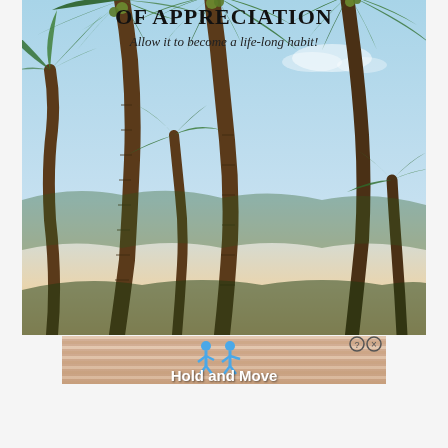OF APPRECIATION
Allow it to become a life-long habit!
[Figure (photo): Tropical beach scene with tall palm trees against a light blue and peachy sky, photographed from below looking up at swaying fronds]
[Figure (screenshot): Mobile advertisement banner with striped sandy texture background, two blue cartoon figures, question mark and X buttons in top right, and bold white text reading 'Hold and Move']